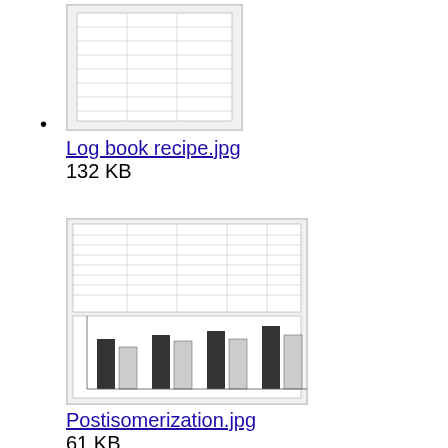Log book recipe.jpg
132 KB
Postisomerization.jpg
61 KB